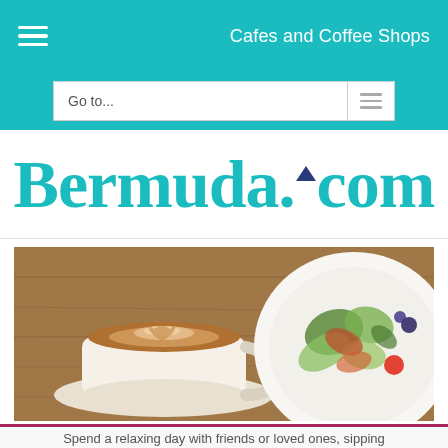Cafes and Coffee Shops
Bermuda.com
[Figure (photo): A latte art coffee cup on a wooden table next to a plate with a fresh salad]
Spend a relaxing day with friends or loved ones, sipping